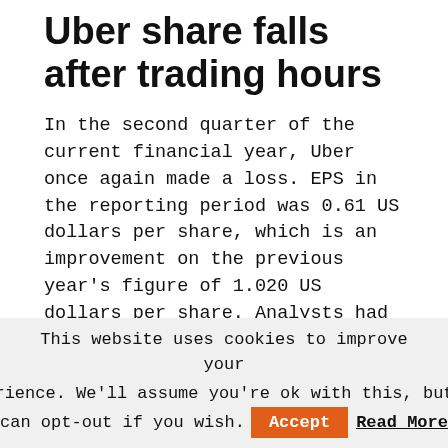Uber share falls after trading hours
In the second quarter of the current financial year, Uber once again made a loss. EPS in the reporting period was 0.61 US dollars per share, which is an improvement on the previous year's figure of 1.020 US dollars per share. Analysts had predicted the company to post EPS of -0.526 US dollars.
This website uses cookies to improve your experience. We'll assume you're ok with this, but you can opt-out if you wish. Accept Read More